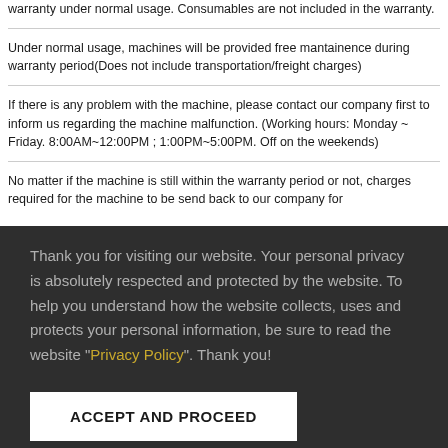warranty under normal usage. Consumables are not included in the warranty.
Under normal usage, machines will be provided free mantainence during warranty period(Does not include transportation/freight charges)
If there is any problem with the machine, please contact our company first to inform us regarding the machine malfunction. (Working hours: Monday ~ Friday. 8:00AM~12:00PM ; 1:00PM~5:00PM. Off on the weekends)
No matter if the machine is still within the warranty period or not, charges required for the machine to be send back to our company for
Thank you for visiting our website. Your personal privacy is absolutely respected and protected by the website. To help you understand how the website collects, uses and protects your personal information, be sure to read the website "Privacy Policy". Thank you!